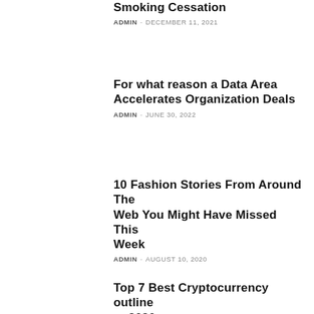Smoking Cessation
ADMIN - DECEMBER 11, 2021
For what reason a Data Area Accelerates Organization Deals
ADMIN - JUNE 30, 2022
10 Fashion Stories From Around The Web You Might Have Missed This Week
ADMIN - AUGUST 10, 2020
Top 7 Best Cryptocurrency outline to 2020